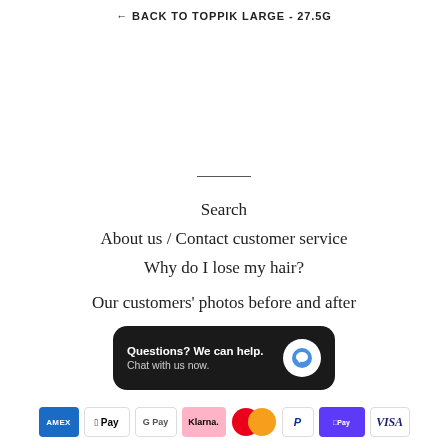← BACK TO TOPPIK LARGE - 27.5G
Search
About us / Contact customer service
Why do I lose my hair?
Our customers' photos before and after
Hairdresser tips for thin hair!
Return policy
© 2022, Hårfibre.nu
[Figure (screenshot): Chat widget with text 'Questions? We can help. Chat with us now.' and a blue chat bubble icon on dark background]
[Figure (infographic): Payment method icons: American Express, Apple Pay, Google Pay, Klarna, Mastercard, PayPal, Shop Pay, Visa]